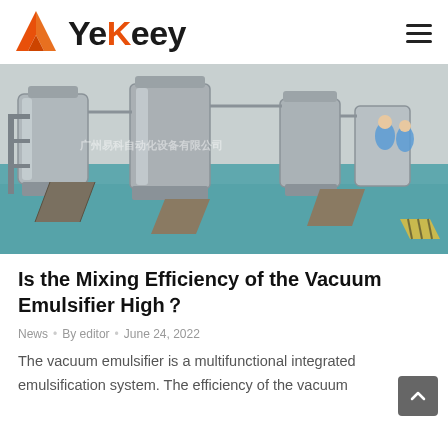YeKeey
[Figure (photo): Industrial vacuum emulsifier mixing equipment in a clean room facility with stainless steel tanks, staircases, and workers in blue lab coats on a teal floor. Chinese watermark text visible.]
Is the Mixing Efficiency of the Vacuum Emulsifier High？
News • By editor • June 24, 2022
The vacuum emulsifier is a multifunctional integrated emulsification system. The efficiency of the vacuum